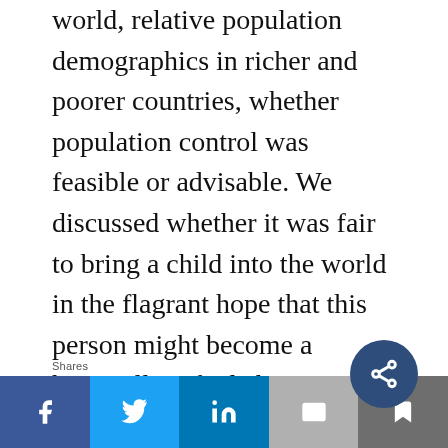world, relative population demographics in richer and poorer countries, whether population control was feasible or advisable. We discussed whether it was fair to bring a child into the world in the flagrant hope that this person might become a heroically gifted chemist or something who would solve the CO₂ problem and usher in a golden age.
When my husband and I had our three children in the 1990s, we did not grapple with such weighty matters. I suppose I wondered v[...]
Shares | Facebook | Twitter | LinkedIn | Email | Bookmark